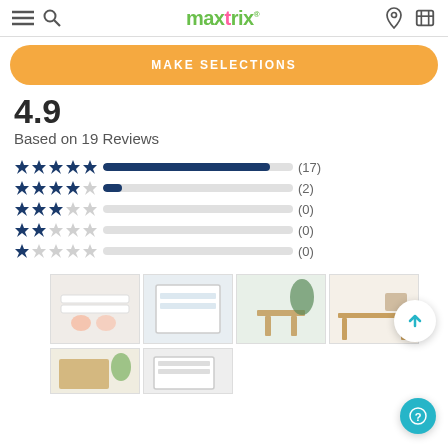maxtrix® — navigation header with hamburger menu, search, logo, location pin, and cart icons
MAKE SELECTIONS
4.9
Based on 19 Reviews
[Figure (bar-chart): Star rating distribution]
[Figure (photo): Grid of product photos showing bunk beds and children's furniture]
[Figure (photo): Additional row of bunk bed product photos (partially visible)]